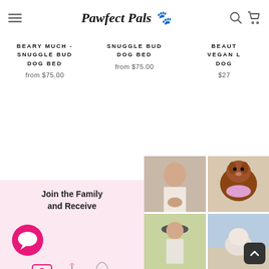Pawfect Pals
BEARY MUCH - SNUGGLE BUD DOG BED
from $75.00
SNUGGLE BUD DOG BED
from $75.00
BEAUT... VEGAN L... DOG...
$27...
[Figure (screenshot): Join the Family and Receive promotional panel with pink background, chat bubble icon, discount tag icon, birthday cake icon, and rocket icon]
[Figure (photo): Instagram grid with four photos: woman holding small dog, dachshund with floral bow tie, woman in hat in field, dog at beach]